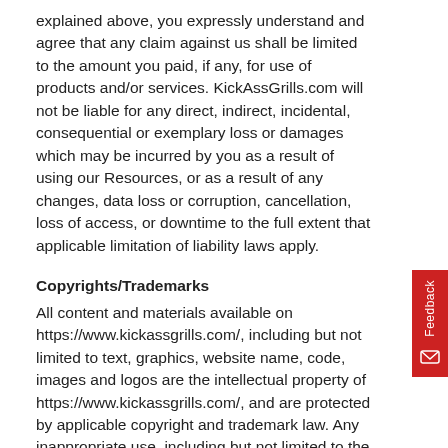explained above, you expressly understand and agree that any claim against us shall be limited to the amount you paid, if any, for use of products and/or services. KickAssGrills.com will not be liable for any direct, indirect, incidental, consequential or exemplary loss or damages which may be incurred by you as a result of using our Resources, or as a result of any changes, data loss or corruption, cancellation, loss of access, or downtime to the full extent that applicable limitation of liability laws apply.
Copyrights/Trademarks
All content and materials available on https://www.kickassgrills.com/, including but not limited to text, graphics, website name, code, images and logos are the intellectual property of https://www.kickassgrills.com/, and are protected by applicable copyright and trademark law. Any inappropriate use, including but not limited to the reproduction, distribution, display or transmission of any content on this site is strictly prohibited, unless specifically